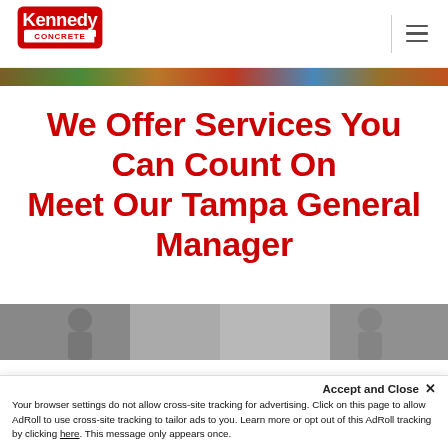[Figure (logo): Kennedy Concrete logo in red with arrow]
[Figure (photo): Colorful horizontal hero image strip at top of page]
We Offer Services You Can Count On
Meet Our Tampa General Manager
[Figure (photo): Partially visible photo strip at bottom of content area]
Accept and Close ×
Your browser settings do not allow cross-site tracking for advertising. Click on this page to allow AdRoll to use cross-site tracking to tailor ads to you. Learn more or opt out of this AdRoll tracking by clicking here. This message only appears once.